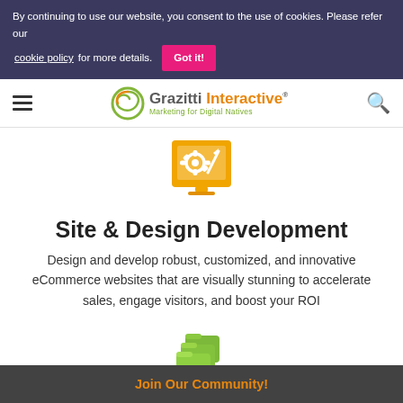By continuing to use our website, you consent to the use of cookies. Please refer our cookie policy for more details.
Grazitti Interactive — Marketing for Digital Natives
[Figure (illustration): Yellow/orange monitor icon with gear and pencil, representing site and design development]
Site & Design Development
Design and develop robust, customized, and innovative eCommerce websites that are visually stunning to accelerate sales, engage visitors, and boost your ROI
[Figure (illustration): Green stacked folders icon representing data migration]
Migration
Join Our Community!